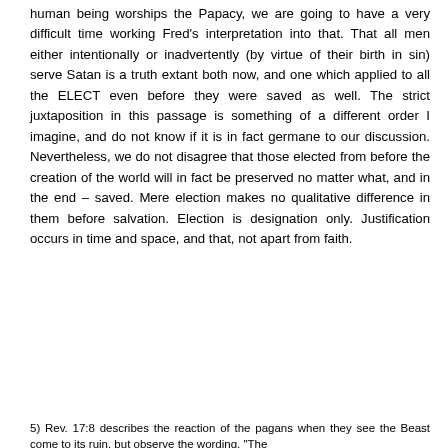human being worships the Papacy, we are going to have a very difficult time working Fred's interpretation into that. That all men either intentionally or inadvertently (by virtue of their birth in sin) serve Satan is a truth extant both now, and one which applied to all the ELECT even before they were saved as well. The strict juxtaposition in this passage is something of a different order I imagine, and do not know if it is in fact germane to our discussion. Nevertheless, we do not disagree that those elected from before the creation of the world will in fact be preserved no matter what, and in the end – saved. Mere election makes no qualitative difference in them before salvation. Election is designation only. Justification occurs in time and space, and that, not apart from faith.
5) Rev. 17:8 describes the reaction of the pagans when they see the Beast come to its ruin, but observe the wording, "The